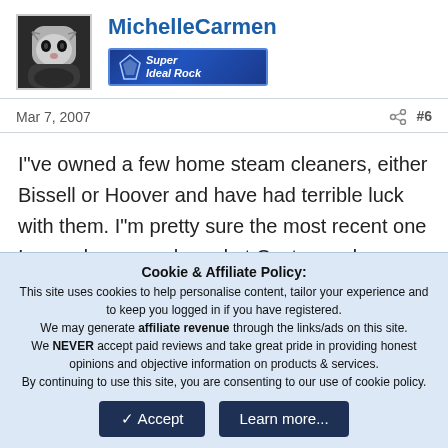MichelleCarmen
[Figure (logo): Super Ideal Rock badge banner with diamond logo on dark blue background]
Mar 7, 2007  #6
I"ve owned a few home steam cleaners, either Bissell or Hoover and have had terrible luck with them. I"m pretty sure the most recent one I owned was purchased at Costco and was around $300. . .it DID work, but didn"t last for long. For some reason, after about 1-2 years, the cleaner just konks out. My
Cookie & Affiliate Policy:
This site uses cookies to help personalise content, tailor your experience and to keep you logged in if you have registered.
We may generate affiliate revenue through the links/ads on this site.
We NEVER accept paid reviews and take great pride in providing honest opinions and objective information on products & services.
By continuing to use this site, you are consenting to our use of cookie policy.